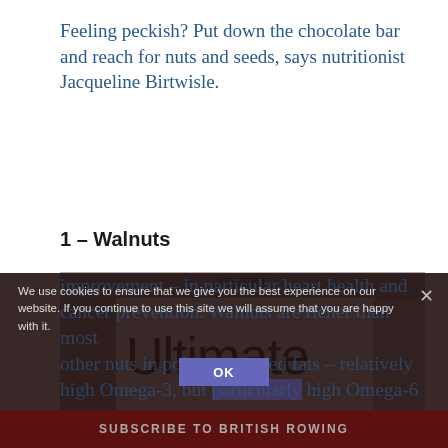Feeling peckish? Put down the chocolate bar and reach for nuts and seeds, says nutritionist Jacqueline Birtwisle.
1 – Walnuts
[Figure (other): Advertisement box with 'ADVERT' label and 'Ultimate' text logo on white background]
Eating a portion of three to four whole nuts (15g) a day could be an important step to health improvement – in particular heart health and cancer prevention. Walnuts are richer than most other nuts in polyunsaturated fats – relatively high Omega-3, but particularly high Omega-6
We use cookies to ensure that we give you the best experience on our website. If you continue to use this site we will assume that you are happy with it.
OK
SUBSCRIBE TO BRITISH ROWING